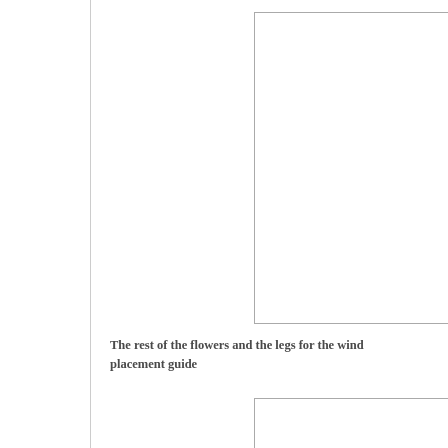[Figure (other): Large blank image placeholder box in upper right area of page]
The rest of the flowers and the legs for the wind placement guide
[Figure (other): Small blank image placeholder box in lower right area of page]